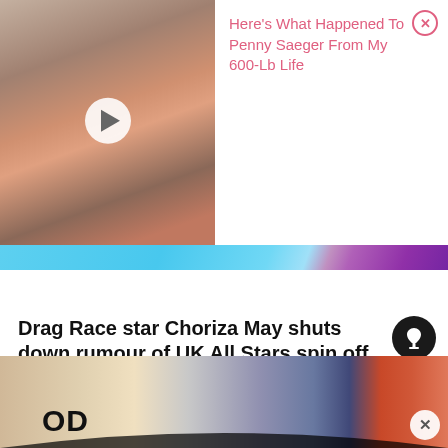[Figure (screenshot): Ad overlay with thumbnail showing a woman and play button, with pink text 'Here's What Happened To Penny Saeger From My 600-Lb Life' and a close X button]
Here's What Happened To Penny Saeger From My 600-Lb Life
[Figure (photo): Hero image with light blue background and a person in a magenta/purple dress visible on the right side]
Drag Race star Choriza May shuts down rumour of UK All Stars spin off
[Figure (photo): Bottom banner advertisement showing two people (blonde woman and bearded man) with 'OD' text visible and a curved black border element]